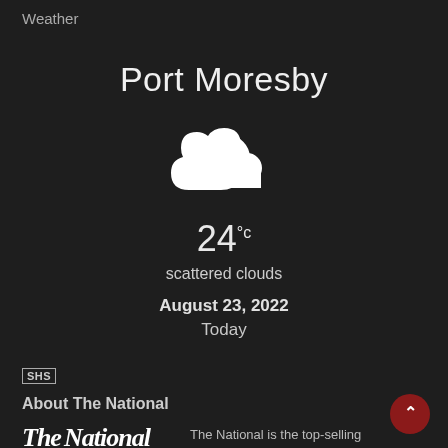Weather
Port Moresby
[Figure (illustration): White cloud icon on dark background]
24°c
scattered clouds
August 23, 2022
Today
SHS
About The National
[Figure (logo): The National newspaper logo]
The National is the top-selling